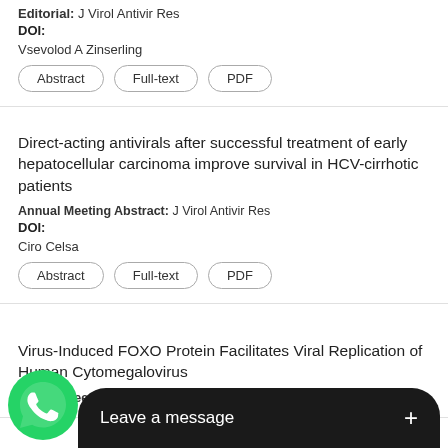Editorial: J Virol Antivir Res
DOI:
Vsevolod A Zinserling
Abstract | Full-text | PDF
Direct-acting antivirals after successful treatment of early hepatocellular carcinoma improve survival in HCV-cirrhotic patients
Annual Meeting Abstract: J Virol Antivir Res
DOI:
Ciro Celsa
Abstract | Full-text | PDF
Virus-Induced FOXO Protein Facilitates Viral Replication of Human Cytomegalovirus
Annual Meeting Abstract: J Virol Antivir Res
Sleman
[Figure (screenshot): WhatsApp 'Leave a message' chat widget overlay at the bottom of the screen]